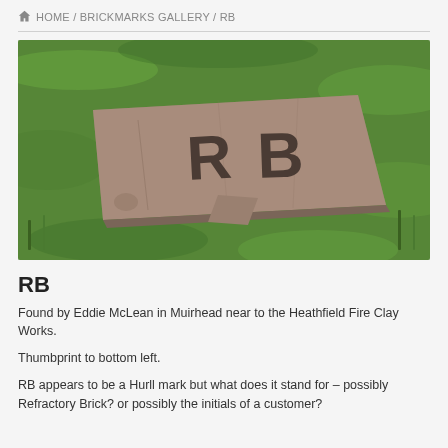HOME / BRICKMARKS GALLERY / RB
[Figure (photo): Photograph of a broken clay brick with the letters 'RB' stamped on its face, lying on green grass.]
RB
Found by Eddie McLean in Muirhead near to the Heathfield Fire Clay Works.
Thumbprint to bottom left.
RB appears to be a Hurll mark but what does it stand for – possibly Refractory Brick? or possibly the initials of a customer?